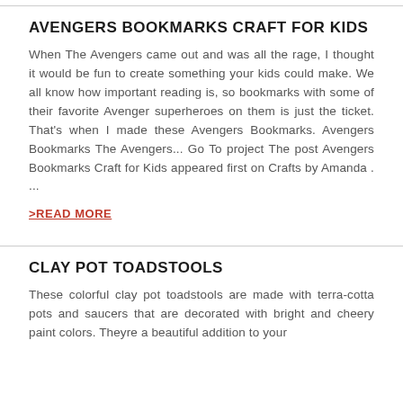AVENGERS BOOKMARKS CRAFT FOR KIDS
When The Avengers came out and was all the rage, I thought it would be fun to create something your kids could make. We all know how important reading is, so bookmarks with some of their favorite Avenger superheroes on them is just the ticket. That’s when I made these Avengers Bookmarks. Avengers Bookmarks The Avengers... Go To project The post Avengers Bookmarks Craft for Kids appeared first on Crafts by Amanda . ...
>READ MORE
CLAY POT TOADSTOOLS
These colorful clay pot toadstools are made with terra-cotta pots and saucers that are decorated with bright and cheery paint colors. Theyre a beautiful addition to your